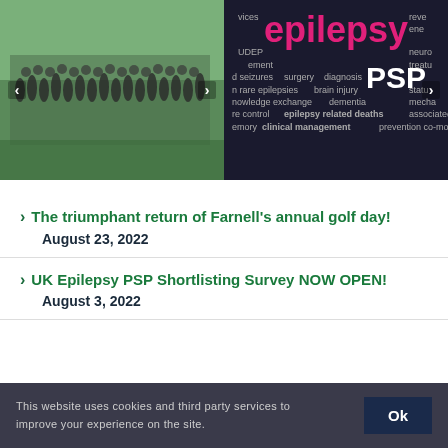[Figure (photo): Group photo of people on a golf course, with navigation arrows on left and right sides]
[Figure (infographic): Word cloud on dark background featuring medical/research terms: epilepsy (large pink), PSP (large white), seizures, diagnosis, brain injury, rare epilepsies, dementia, clinical management, prevention, co-morbidity, SUDEP, knowledge exchange, epilepsy related deaths, associated conditions, mechanisms, neurology, treatment]
The triumphant return of Farnell's annual golf day! August 23, 2022
UK Epilepsy PSP Shortlisting Survey NOW OPEN! August 3, 2022
This website uses cookies and third party services to improve your experience on the site.